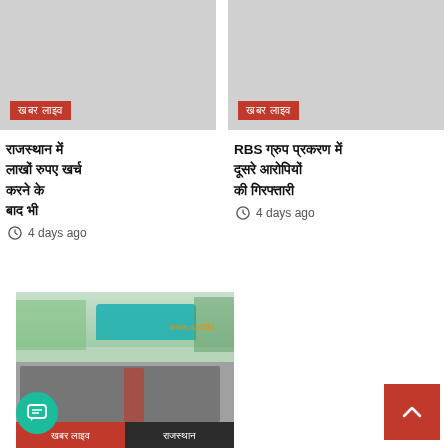[Figure (photo): Left article image placeholder (gray), with red tag label in Hindi]
खबर लाइव (tag label, left)
राजस्थान में लाखों रुपए खर्च करने के बाद भी नहीं मिली सफलता
4 days ago
[Figure (photo): Right article image placeholder (gray), with red tag label in Hindi]
खबर लाइव (tag label, right)
RBS ग्रुप प्रकरण में दूसरे आरोपियों की गिरफ्तारी
4 days ago
[Figure (photo): Group photo of men standing outdoors under a teal umbrella canopy, with watermark www.sachki]
खबर लाइव | राजस्थान